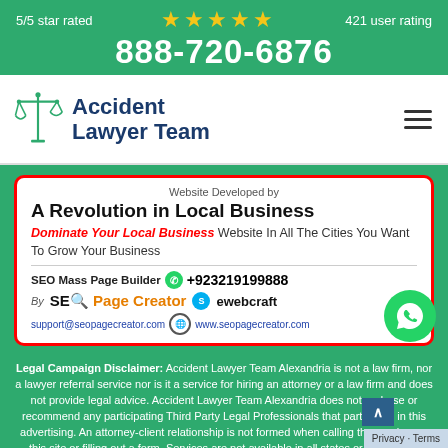5/5 star rated ★★★★★ 421 user rating
888-720-6876
[Figure (logo): Accident Lawyer Team logo with scales of justice icon]
[Figure (infographic): SEO Page Creator advertisement card: Website Developed by. A Revolution in Local Business. Dominate Your Local Business Website In All The Cities You Want To Grow Your Business. SEO Mass Page Builder +923219199888. By SEO Page Creator ewebcraft. support@seopagecreator.com www.seopagecreator.com]
Legal Campaign Disclaimer: Accident Lawyer Team Alexandria is not a law firm, nor a lawyer referral service nor is it a service for hiring an attorney or a law firm and does not provide legal advice. Accident Lawyer Team Alexandria does not endorse or recommend any participating Third Party Legal Professionals that participate in this advertising. An attorney-client relationship is not formed when calling the number on this site or filling out a form. Services are not available in all states or for all legal categories. All